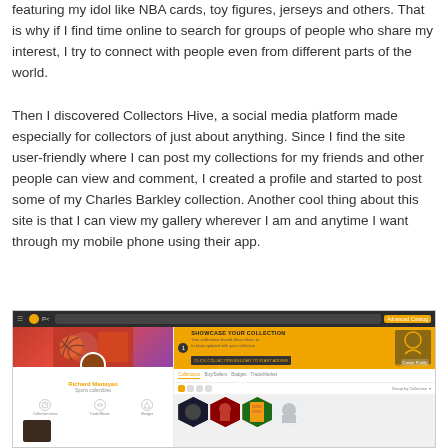featuring my idol like NBA cards, toy figures, jerseys and others. That is why if I find time online to search for groups of people who share my interest, I try to connect with people even from different parts of the world.
Then I discovered Collectors Hive, a social media platform made especially for collectors of just about anything. Since I find the site user-friendly where I can post my collections for my friends and other people can view and comment, I created a profile and started to post some of my Charles Barkley collection. Another cool thing about this site is that I can view my gallery wherever I am and anytime I want through my mobile phone using their app.
[Figure (screenshot): Screenshot of the Collectors Hive website showing a user profile page for Richard Manayao with an NBA-themed cover photo, profile avatar, collection showcase banner in orange, hexagonal collection item thumbnails, and navigation tabs for Collections, Buy/Sellers, Badges, and Trade/Market.]